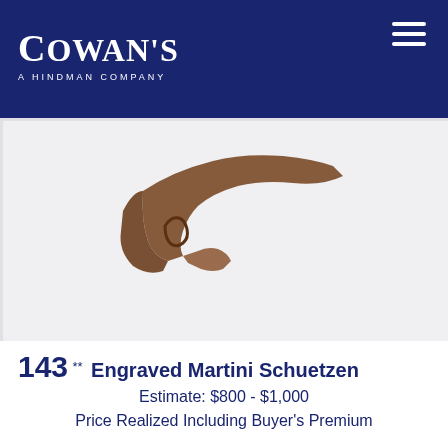Cowan's A Hindman Company
[Figure (photo): Partial image of an engraved Martini Schuetzen rifle with wooden stock visible against a light grey background]
143 ** Engraved Martini Schuetzen
Estimate: $800 - $1,000
Price Realized Including Buyer's Premium